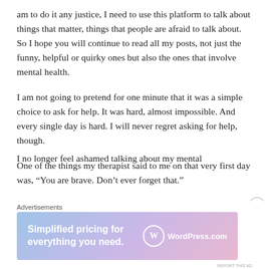am to do it any justice, I need to use this platform to talk about things that matter, things that people are afraid to talk about. So I hope you will continue to read all my posts, not just the funny, helpful or quirky ones but also the ones that involve mental health.
I am not going to pretend for one minute that it was a simple choice to ask for help. It was hard, almost impossible. And every single day is hard. I will never regret asking for help, though.
One of the things my therapist said to me on that very first day was, “You are brave. Don’t ever forget that.”
I no longer feel ashamed talking about my mental
Advertisements
[Figure (other): WordPress.com advertisement banner with gradient background (blue to purple to pink) showing 'Simplified pricing for everything you need.' with WordPress.com logo]